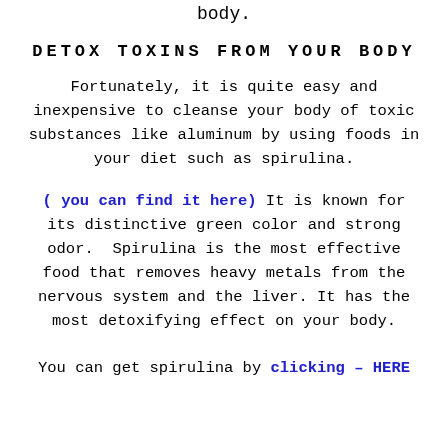body.
DETOX TOXINS FROM YOUR BODY
Fortunately, it is quite easy and inexpensive to cleanse your body of toxic substances like aluminum by using foods in your diet such as spirulina.
( you can find it here) It is known for its distinctive green color and strong odor. Spirulina is the most effective food that removes heavy metals from the nervous system and the liver. It has the most detoxifying effect on your body.
You can get spirulina by clicking – HERE